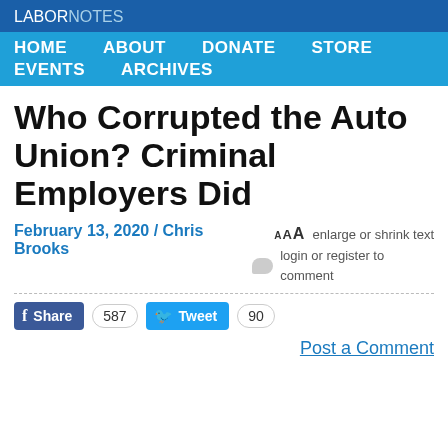LABOR NOTES
HOME  ABOUT  DONATE  STORE  EVENTS  ARCHIVES
Who Corrupted the Auto Union? Criminal Employers Did
February 13, 2020 / Chris Brooks
AAA enlarge or shrink text  login or register to comment
Share 587  Tweet 90
Post a Comment